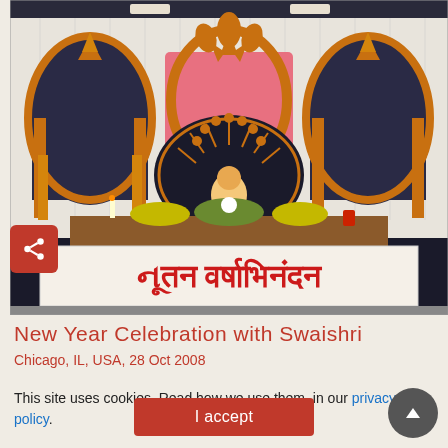[Figure (photo): Religious celebration photo showing an elaborately decorated stage with golden arched backdrops, white drapery curtains, a central peacock-feather style fan decoration, a religious figure seated at center, floral arrangements, candles, and a banner in Gujarati script reading Nutan Varshabhhinandan (New Year Greetings)]
New Year Celebration with Swaishri
Chicago, IL, USA, 28 Oct 2008
This site uses cookies. Read how we use them, in our privacy policy.
I accept